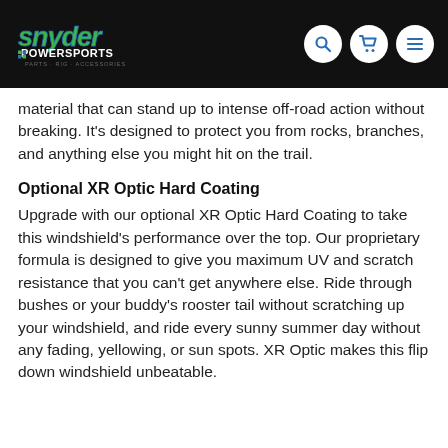[Figure (logo): Snyder Powersports logo — green and blue stylized text with 'POWERSPORTS' and 'PARTS · RIG · ACCESSORIES' in the header bar]
material that can stand up to intense off-road action without breaking. It's designed to protect you from rocks, branches, and anything else you might hit on the trail.
Optional XR Optic Hard Coating
Upgrade with our optional XR Optic Hard Coating to take this windshield's performance over the top. Our proprietary formula is designed to give you maximum UV and scratch resistance that you can't get anywhere else. Ride through bushes or your buddy's rooster tail without scratching up your windshield, and ride every sunny summer day without any fading, yellowing, or sun spots. XR Optic makes this flip down windshield unbeatable.